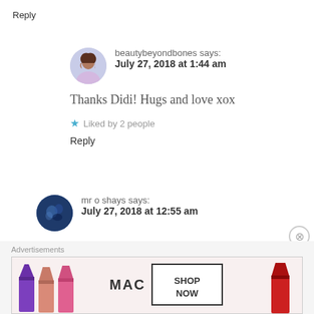Reply
beautybeyondbones says: July 27, 2018 at 1:44 am
Thanks Didi! Hugs and love xox
Liked by 2 people
Reply
mr o shays says: July 27, 2018 at 12:55 am
Cool hat!
Advertisements